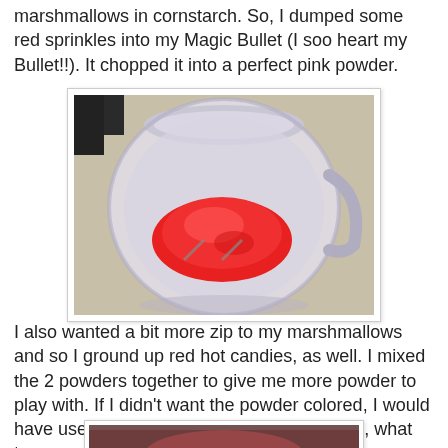marshmallows in cornstarch. So, I dumped some red sprinkles into my Magic Bullet (I soo heart my Bullet!!). It chopped it into a perfect pink powder.
[Figure (photo): Top-down view of a Magic Bullet blender cup containing red/pink powder (ground sprinkles)]
I also wanted a bit more zip to my marshmallows and so I ground up red hot candies, as well. I mixed the 2 powders together to give me more powder to play with. If I didn't want the powder colored, I would have used powdered sugar instead. After all, what tops sugar better than more sugar!?
[Figure (photo): Close-up photo of reddish-pink powder mixture, partially visible at bottom of page]